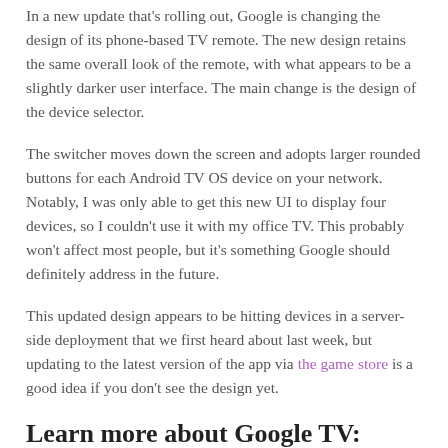In a new update that's rolling out, Google is changing the design of its phone-based TV remote. The new design retains the same overall look of the remote, with what appears to be a slightly darker user interface. The main change is the design of the device selector.
The switcher moves down the screen and adopts larger rounded buttons for each Android TV OS device on your network. Notably, I was only able to get this new UI to display four devices, so I couldn't use it with my office TV. This probably won't affect most people, but it's something Google should definitely address in the future.
This updated design appears to be hitting devices in a server-side deployment that we first heard about last week, but updating to the latest version of the app via the game store is a good idea if you don't see the design yet.
Learn more about Google TV: